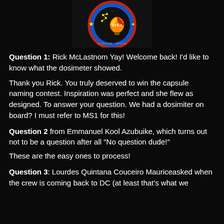[Figure (logo): BTS-1 mission patch logo — circular badge with a hot air balloon, constellation dots, stars, blue and red ring border, text 'BTS-1' and 'SCIENCE / SPACE' on black background]
Question 1: Rick McLastnom Yay! Welcome back! I'd like to know what the dosimeter showed.
Thank you Rick. You truly deserved to win the capsule naming contest. Inspiration was perfect and she flew as designed. To answer your question. We had a dosimiter on board? I must refer to MS1 for this!
Question 2 from Emmanuel Kool Azubuike, which turns out not to be a question after all "No question dude!"
These are the easy ones to process!
Question 3: Lourdes Quintana Couceiro Mauriceasked when the crew is coming back to DC (at least that's what we